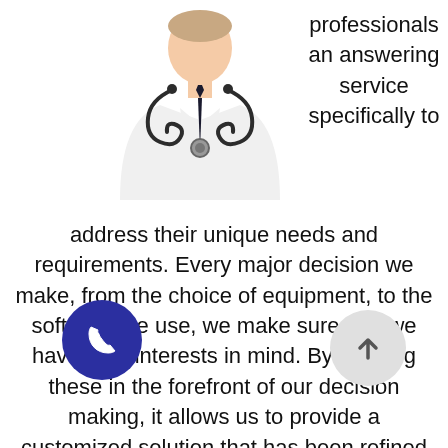[Figure (illustration): Cartoon illustration of a doctor/medical professional wearing a white coat, blue shirt, dark tie, and stethoscope around the neck. Headless torso icon style.]
professionals an answering service specifically to address their unique needs and requirements. Every major decision we make, from the choice of equipment, to the software we use, we make sure that we have your interests in mind. By keeping these in the forefront of our decision making, it allows us to provide a customized solution that has been refined and improved over the last 25 years. Whether you are in a private or group practice, or part of a large hospital department, CallNET Crop
[Figure (illustration): Dark blue circular phone/call button icon with white telephone handset symbol]
[Figure (illustration): Light gray circular button with upward arrow symbol]